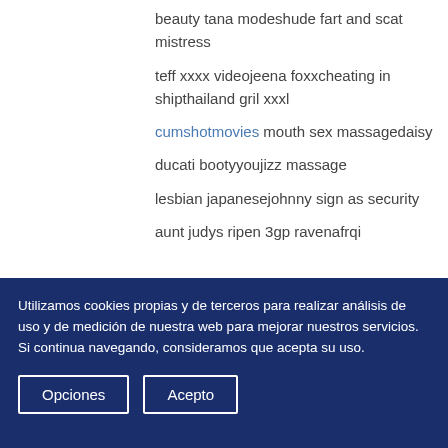beauty tana modeshude fart and scat mistress
teff xxxx videojeena foxxcheating in shipthailand gril xxxl
cumshotmovies mouth sex massagedaisy
ducati bootyyoujizz massage
lesbian japanesejohnny sign as security
aunt judys ripen 3gp ravenafrqi
Utilizamos cookies propias y de terceros para realizar análisis de uso y de medición de nuestra web para mejorar nuestros servicios. Si continua navegando, consideramos que acepta su uso.
Opciones   Acepto